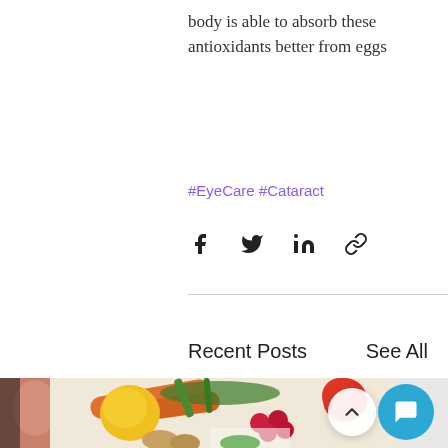body is able to absorb these antioxidants better from eggs
#EyeCare #Cataract
[Figure (other): Social share icons: Facebook, Twitter, LinkedIn, Link]
Recent Posts
See All
[Figure (photo): Row of recent post thumbnail images: partial face on left, colorful vegetables (carrots, raspberries, tomatoes, yellow pepper, herbs) in center, partial image on right]